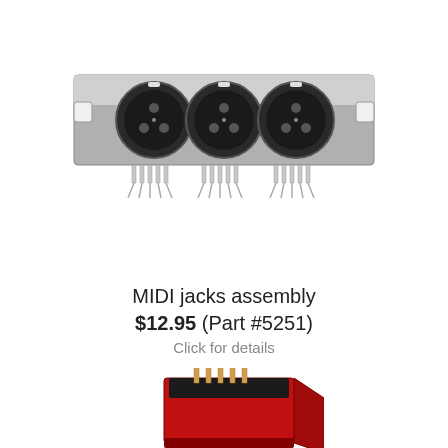[Figure (photo): A triple MIDI DIN jack assembly — three circular black DIN connectors mounted on a metal bracket with multiple solder pins along the bottom, shown from the front.]
MIDI jacks assembly
$12.95 (Part #5251)
Click for details
[Figure (photo): Partial view of a red and black electronic component (likely another connector or jack assembly) shown from an angled perspective, cropped at the bottom of the page.]